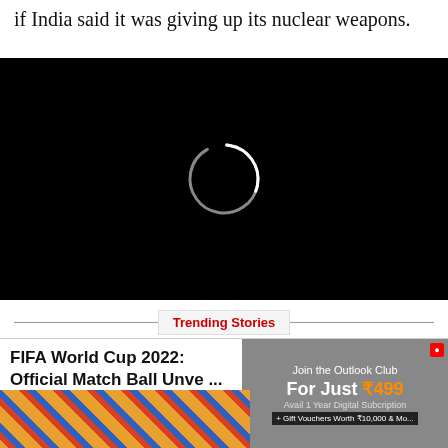if India said it was giving up its nuclear weapons.
[Figure (screenshot): Black video player with a circular loading spinner (white arc) in the center on a black background]
Trending Stories
FIFA World Cup 2022: Official Match Ball Unve ...
[Figure (infographic): Advertisement: Join the Outlook Club For Just ₹499 - Avail 1 Year Digital Subscription + Gift Vouchers Worth ₹10,000 & More]
[Figure (photo): Colorful image at the bottom left, partially visible]